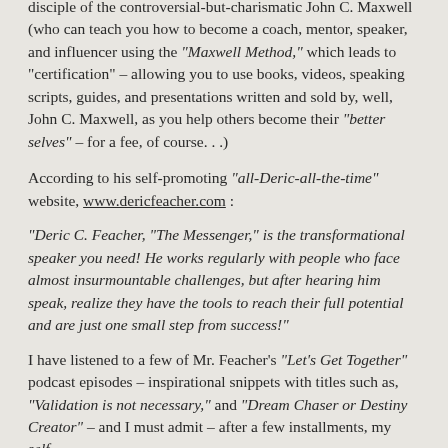disciple of the controversial-but-charismatic John C. Maxwell (who can teach you how to become a coach, mentor, speaker, and influencer using the "Maxwell Method," which leads to "certification" – allowing you to use books, videos, speaking scripts, guides, and presentations written and sold by, well, John C. Maxwell, as you help others become their "better selves" – for a fee, of course. . .)
According to his self-promoting "all-Deric-all-the-time" website, www.dericfeacher.com :
"Deric C. Feacher, "The Messenger," is the transformational speaker you need! He works regularly with people who face almost insurmountable challenges, but after hearing him speak, realize they have the tools to reach their full potential and are just one small step from success!"
I have listened to a few of Mr. Feacher's "Let's Get Together" podcast episodes – inspirational snippets with titles such as, "Validation is not necessary," and "Dream Chaser or Destiny Creator" – and I must admit – after a few installments, my self-[motivating alt...]